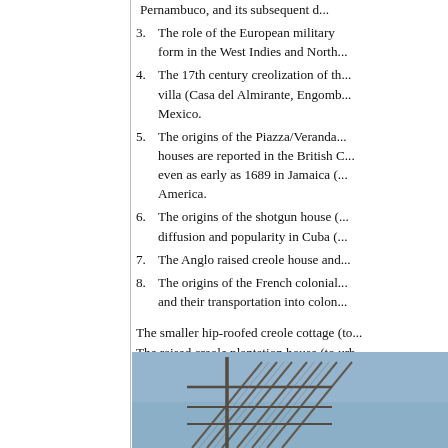Pernambuco, and its subsequent d...
3. The role of the European military ... form in the West Indies and North...
4. The 17th century creolization of th... villa (Casa del Almirante, Engomb... Mexico.
5. The origins of the Piazza/Veranda... houses are reported in the British C... even as early as 1689 in Jamaica (... America.
6. The origins of the shotgun house (... diffusion and popularity in Cuba (...
7. The Anglo raised creole house and...
8. The origins of the French colonial... and their transportation into colon...
The smaller hip-roofed creole cottage (to ...
The raised creole plantation house (to urb...
The urban creole cottage (to New Orleans...
[Figure (photo): A photograph of a building structure or architectural feature against a blue sky, showing diagonal structural elements such as beams or blinds.]